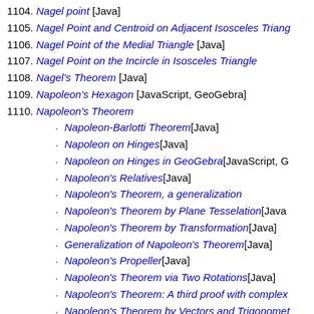1104. Nagel point [Java]
1105. Nagel Point and Centroid on Adjacent Isosceles Triang...
1106. Nagel Point of the Medial Triangle [Java]
1107. Nagel Point on the Incircle in Isosceles Triangle
1108. Nagel's Theorem [Java]
1109. Napoleon's Hexagon [JavaScript, GeoGebra]
1110. Napoleon's Theorem
Napoleon-Barlotti Theorem [Java]
Napoleon on Hinges [Java]
Napoleon on Hinges in GeoGebra [JavaScript, G...
Napoleon's Relatives [Java]
Napoleon's Theorem, a generalization
Napoleon's Theorem by Plane Tesselation [Java...
Napoleon's Theorem by Transformation [Java]
Generalization of Napoleon's Theorem [Java]
Napoleon's Propeller [Java]
Napoleon's Theorem via Two Rotations [Java]
Napoleon's Theorem: A third proof with complex...
Napoleon's Theorem by Vectors and Trigonomet...
Yet Another Analytic Proof of Napoleon's Theore...
1111. Necker Cube [Java]
1112. Neuberg Cubic [Java, GeoGebra]
1113. Neuberg Sangaku [Java]